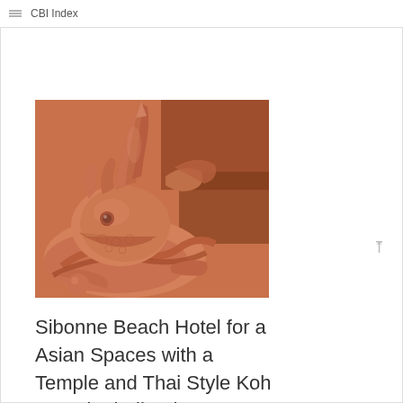CBI Index
[Figure (photo): Close-up photo of a terracotta/orange-toned ornate Thai dragon or mythical creature sculpture with intricate carvings, typical of Thai temple architecture]
Sibonne Beach Hotel for a Asian Spaces with a Temple and Thai Style Koh Samui, Thailand